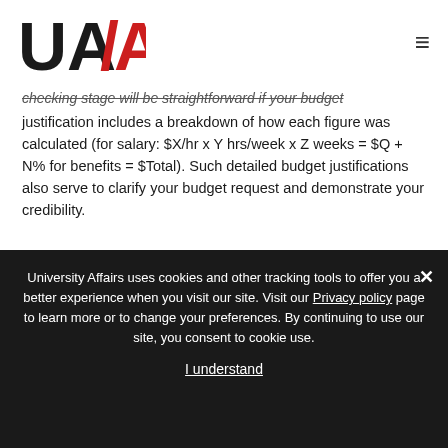UA/AU logo and navigation menu
checking stage will be straightforward if your budget justification includes a breakdown of how each figure was calculated (for salary: $X/hr x Y hrs/week x Z weeks = $Q + N% for benefits = $Total). Such detailed budget justifications also serve to clarify your budget request and demonstrate your credibility.
Read also: Being understood outside your discipline
University Affairs uses cookies and other tracking tools to offer you a better experience when you visit our site. Visit our Privacy policy page to learn more or to change your preferences. By continuing to use our site, you consent to cookie use.
I understand